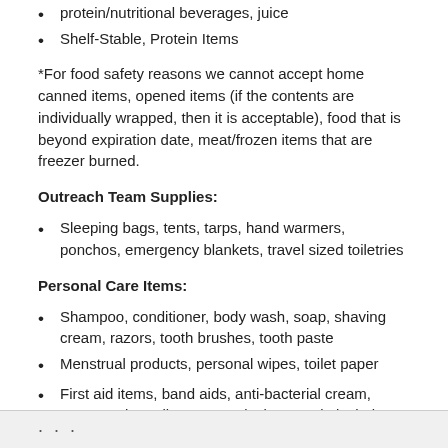protein/nutritional beverages, juice
Shelf-Stable, Protein Items
*For food safety reasons we cannot accept home canned items, opened items (if the contents are individually wrapped, then it is acceptable), food that is beyond expiration date, meat/frozen items that are freezer burned.
Outreach Team Supplies:
Sleeping bags, tents, tarps, hand warmers, ponchos, emergency blankets, travel sized toiletries
Personal Care Items:
Shampoo, conditioner, body wash, soap, shaving cream, razors, tooth brushes, tooth paste
Menstrual products, personal wipes, toilet paper
First aid items, band aids, anti-bacterial cream, compression roll, gauze pads, isopropyl alcohol wipes/bottles, hydrogen peroxide
*Items should be new and unopened, or individually wrapped